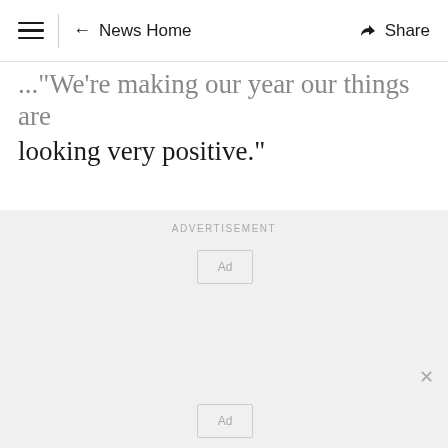≡  ← News Home    Share
... "We're making our year our things are looking very positive."
ADVERTISEMENT
[Figure (other): Advertisement placeholder area with two 'Ad' boxes and a close button]
[Figure (other): Second Ad placeholder box]